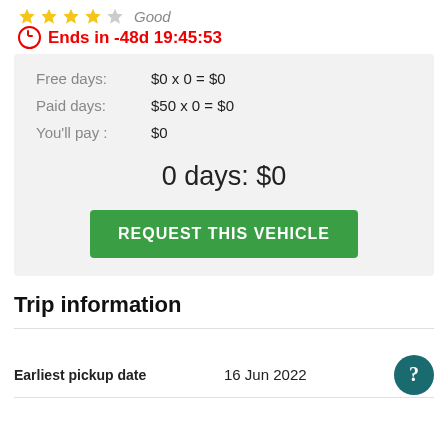Good
Ends in -48d 19:45:53
Free days: $0 x 0 = $0
Paid days: $50 x 0 = $0
You'll pay : $0
0 days: $0
REQUEST THIS VEHICLE
Trip information
Earliest pickup date    16 Jun 2022